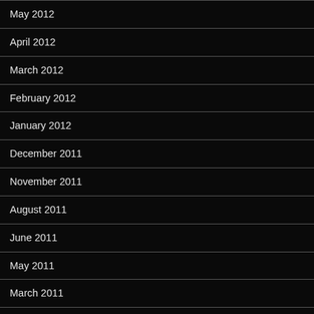May 2012
April 2012
March 2012
February 2012
January 2012
December 2011
November 2011
August 2011
June 2011
May 2011
March 2011
February 2011